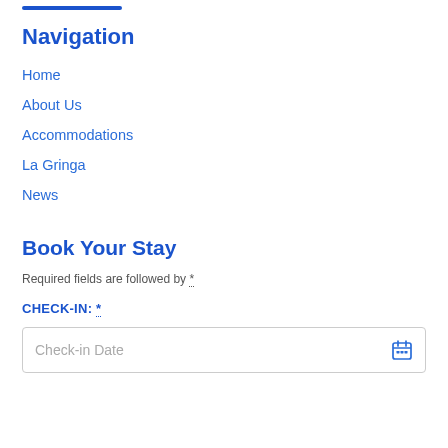Navigation
Home
About Us
Accommodations
La Gringa
News
Book Your Stay
Required fields are followed by *.
CHECK-IN: *
Check-in Date